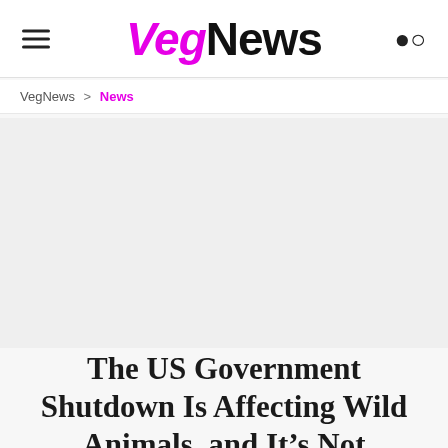VegNews
VegNews > News
[Figure (other): Advertisement / blank ad placeholder area]
The US Government Shutdown Is Affecting Wild Animals, and It's Not Looking Good